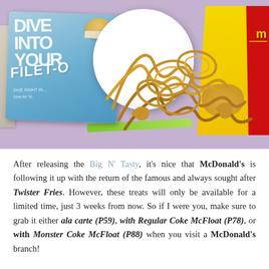[Figure (photo): Photo of McDonald's food items: a Filet-O-Fish box on the left, a white paper container of curly Twister Fries in the center, and a yellow/red Twister Fries box on the right, all on a purple surface with a green accent strip visible]
After releasing the Big N' Tasty, it's nice that McDonald's is following it up with the return of the famous and always sought after Twister Fries. However, these treats will only be available for a limited time, just 3 weeks from now. So if I were you, make sure to grab it either ala carte (P59), with Regular Coke McFloat (P78), or with Monster Coke McFloat (P88) when you visit a McDonald's branch!